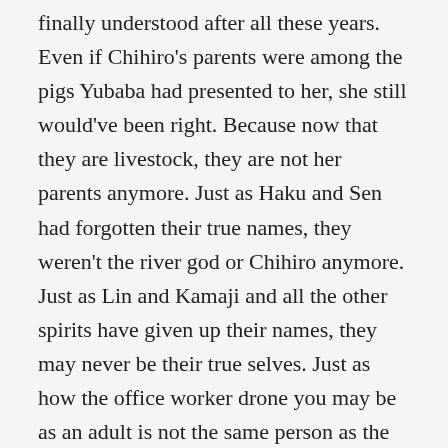finally understood after all these years. Even if Chihiro's parents were among the pigs Yubaba had presented to her, she still would've been right. Because now that they are livestock, they are not her parents anymore. Just as Haku and Sen had forgotten their true names, they weren't the river god or Chihiro anymore. Just as Lin and Kamaji and all the other spirits have given up their names, they may never be their true selves. Just as how the office worker drone you may be as an adult is not the same person as the wide-eyed child you grew up as. The person you were before is what defines your identity. And when that's gone, whether it be through magic or loss of innocence or the pressures of adult society, you are no longer that person.